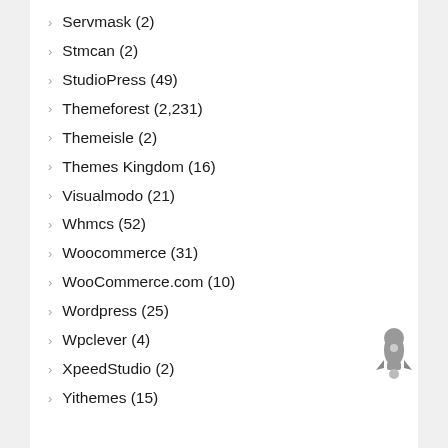Servmask (2)
Stmcan (2)
StudioPress (49)
Themeforest (2,231)
Themeisle (2)
Themes Kingdom (16)
Visualmodo (21)
Whmcs (52)
Woocommerce (31)
WooCommerce.com (10)
Wordpress (25)
Wpclever (4)
XpeedStudio (2)
Yithemes (15)
[Figure (illustration): Gray rocket ship icon]